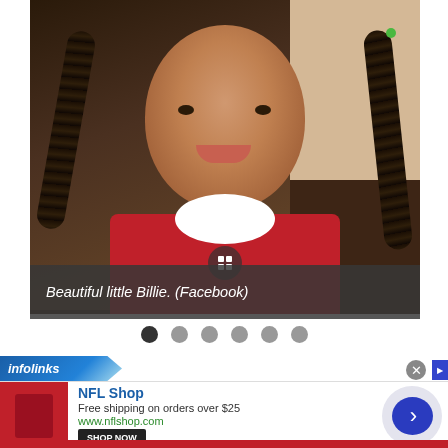[Figure (photo): Photo of a young smiling girl with braided pigtails wearing a red dress with white collar, with a dark background.]
Beautiful little Billie. (Facebook)
[Figure (other): Navigation dots row with 6 dots, first one dark/active, rest grey]
infolinks
NFL Shop
Free shipping on orders over $25
www.nflshop.com
SHOP NOW